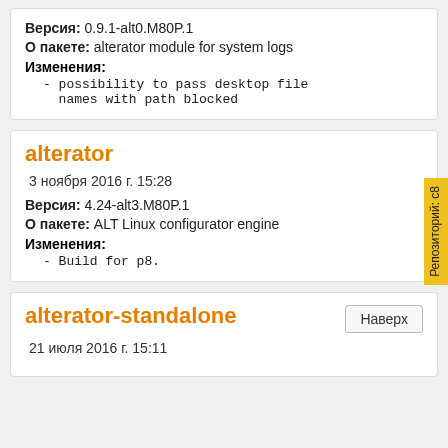Версия: 0.9.1-alt0.M80P.1
О пакете: alterator module for system logs
Изменения:
- possibility to pass desktop file names with path blocked
alterator
3 ноября 2016 г. 15:28
Версия: 4.24-alt3.M80P.1
О пакете: ALT Linux configurator engine
Изменения:
- Build for p8.
alterator-standalone
21 июля 2016 г. 15:11